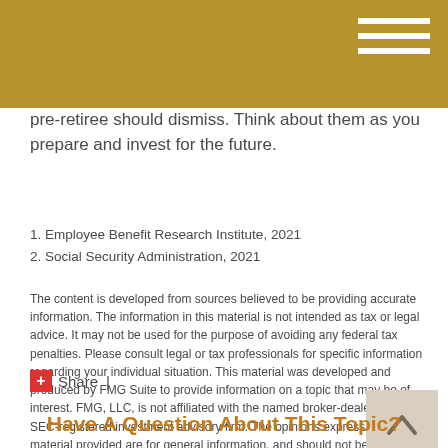pre-retiree should dismiss. Think about them as you prepare and invest for the future.
1. Employee Benefit Research Institute, 2021
2. Social Security Administration, 2021
The content is developed from sources believed to be providing accurate information. The information in this material is not intended as tax or legal advice. It may not be used for the purpose of avoiding any federal tax penalties. Please consult legal or tax professionals for specific information regarding your individual situation. This material was developed and produced by FMG Suite to provide information on a topic that may be of interest. FMG, LLC, is not affiliated with the named broker-dealer, state- or SEC-registered investment advisory firm. The opinions expressed and material provided are for general information, and should not be considered a solicitation for the purchase or sale of any security. Copyright 2022 FMG Suite.
Share |
Have A Question About This Topic?